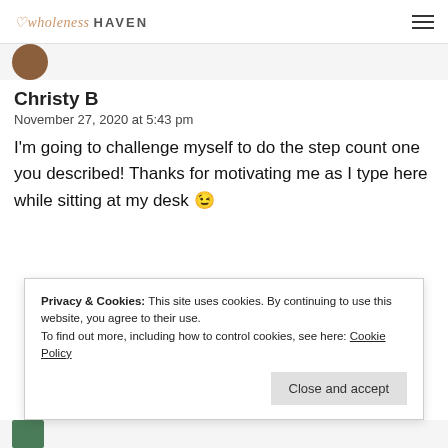wholeness HAVEN
Christy B
November 27, 2020 at 5:43 pm
I'm going to challenge myself to do the step count one you described! Thanks for motivating me as I type here while sitting at my desk 😉
Privacy & Cookies: This site uses cookies. By continuing to use this website, you agree to their use.
To find out more, including how to control cookies, see here: Cookie Policy
Close and accept